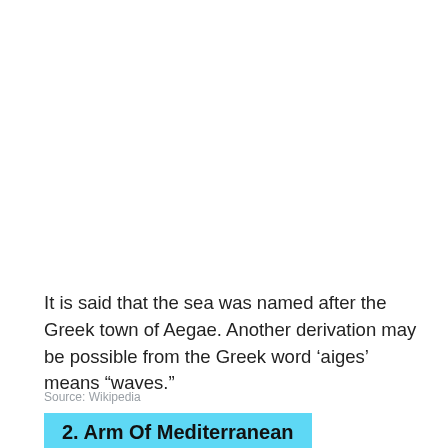It is said that the sea was named after the Greek town of Aegae. Another derivation may be possible from the Greek word ‘aiges’ means “waves.”
Source: Wikipedia
2. Arm Of Mediterranean